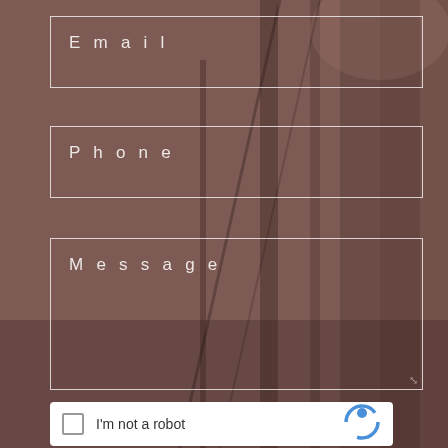[Figure (screenshot): Web contact form with brownish-red background showing a photo of what appears to be a workshop or industrial scene. The form contains three input fields (Email, Phone, Message) and a reCAPTCHA widget at the bottom.]
Email
Phone
Message
I'm not a robot